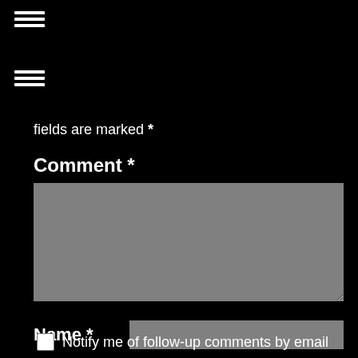[Figure (other): Hamburger menu icon (three horizontal white lines) at top left]
[Figure (other): Hamburger menu icon (three horizontal white lines) below first]
fields are marked *
Comment *
[Figure (other): Gray textarea input box for comment]
Name *
[Figure (other): Gray text input box for name]
Email *
[Figure (other): Gray text input box for email]
Website
[Figure (other): Gray text input box for website]
Notify me of follow-up comments by email